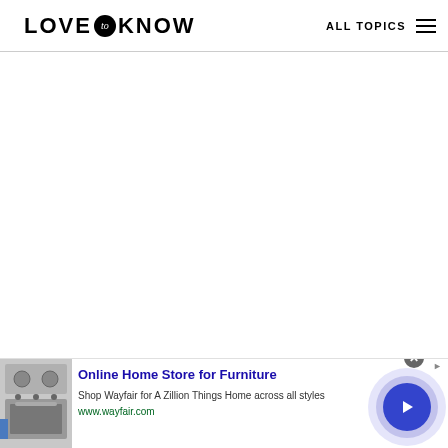LOVE to KNOW — ALL TOPICS
[Figure (screenshot): Blank white main content area of the LoveToKnow website]
[Figure (infographic): Wayfair advertisement banner with appliance image, title 'Online Home Store for Furniture', description 'Shop Wayfair for A Zillion Things Home across all styles', URL 'www.wayfair.com', close button, and forward arrow button]